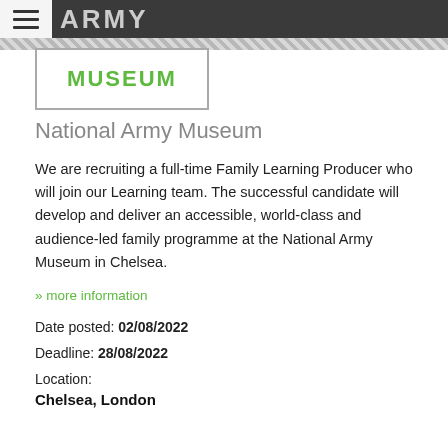ARMY MUSEUM
[Figure (logo): National Army Museum logo with green text MUSEUM in a bordered box]
National Army Museum
We are recruiting a full-time Family Learning Producer who will join our Learning team. The successful candidate will develop and deliver an accessible, world-class and audience-led family programme at the National Army Museum in Chelsea.
» more information
Date posted: 02/08/2022
Deadline: 28/08/2022
Location:
Chelsea, London